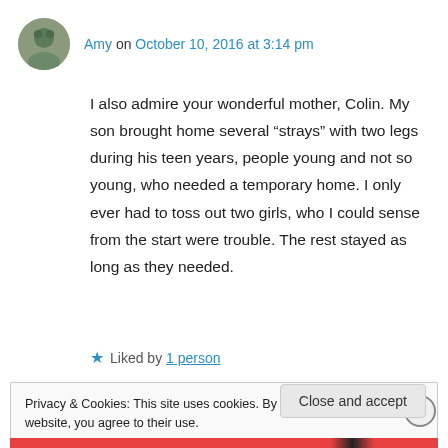Amy on October 10, 2016 at 3:14 pm
I also admire your wonderful mother, Colin. My son brought home several “strays” with two legs during his teen years, people young and not so young, who needed a temporary home. I only ever had to toss out two girls, who I could sense from the start were trouble. The rest stayed as long as they needed.
★ Liked by 1 person
Privacy & Cookies: This site uses cookies. By continuing to use this website, you agree to their use.
To find out more, including how to control cookies, see here: Cookie Policy
Close and accept